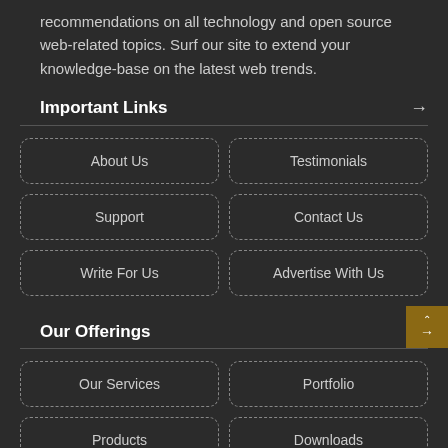recommendations on all technology and open source web-related topics. Surf our site to extend your knowledge-base on the latest web trends.
Important Links
About Us
Testimonials
Support
Contact Us
Write For Us
Advertise With Us
Our Offerings
Our Services
Portfolio
Products
Downloads